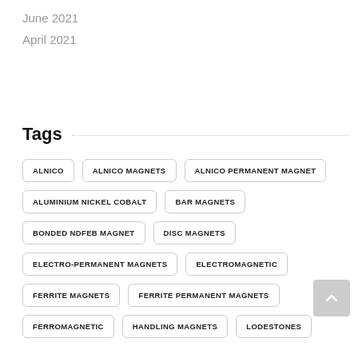June 2021
April 2021
Tags
ALNICO
ALNICO MAGNETS
ALNICO PERMANENT MAGNET
ALUMINIUM NICKEL COBALT
BAR MAGNETS
BONDED NDFEB MAGNET
DISC MAGNETS
ELECTRO-PERMANENT MAGNETS
ELECTROMAGNETIC
FERRITE MAGNETS
FERRITE PERMANENT MAGNETS
FERROMAGNETIC
HANDLING MAGNETS
LODESTONES